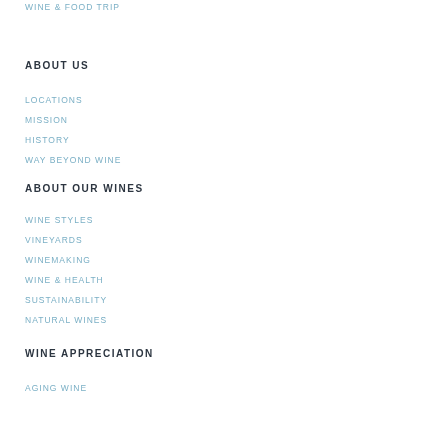WINE & FOOD TRIP
ABOUT US
LOCATIONS
MISSION
HISTORY
WAY BEYOND WINE
ABOUT OUR WINES
WINE STYLES
VINEYARDS
WINEMAKING
WINE & HEALTH
SUSTAINABILITY
NATURAL WINES
WINE APPRECIATION
AGING WINE